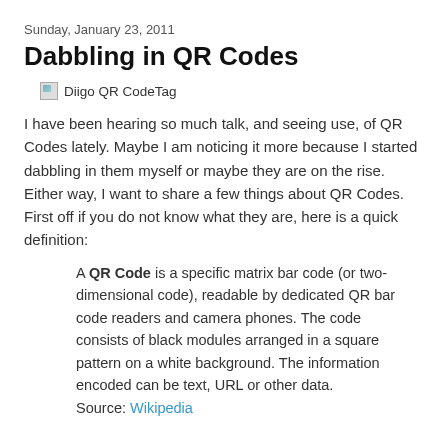Sunday, January 23, 2011
Dabbling in QR Codes
[Figure (other): Broken image placeholder labeled 'Diigo QR CodeTag']
I have been hearing so much talk, and seeing use, of QR Codes lately. Maybe I am noticing it more because I started dabbling in them myself or maybe they are on the rise. Either way, I want to share a few things about QR Codes. First off if you do not know what they are, here is a quick definition:
A QR Code is a specific matrix bar code (or two-dimensional code), readable by dedicated QR bar code readers and camera phones. The code consists of black modules arranged in a square pattern on a white background. The information encoded can be text, URL or other data. Source: Wikipedia